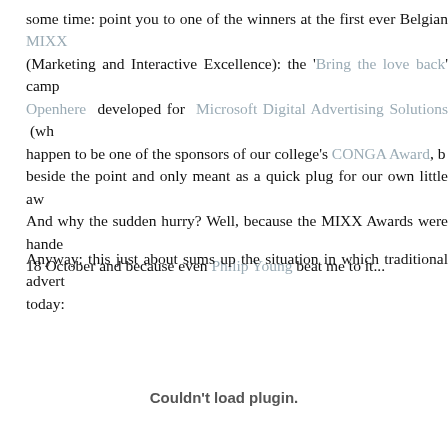some time: point you to one of the winners at the first ever Belgian MIXX (Marketing and Interactive Excellence): the 'Bring the love back' camp Openhere developed for Microsoft Digital Advertising Solutions (wh happen to be one of the sponsors of our college's CONGA Award, b beside the point and only meant as a quick plug for our own little aw And why the sudden hurry? Well, because the MIXX Awards were hande 18 October and because even Philip Young beat me to it...
Anyway: this just about sums up the situation in which traditional advert today:
[Figure (other): Embedded plugin area showing 'Couldn't load plugin.' message]